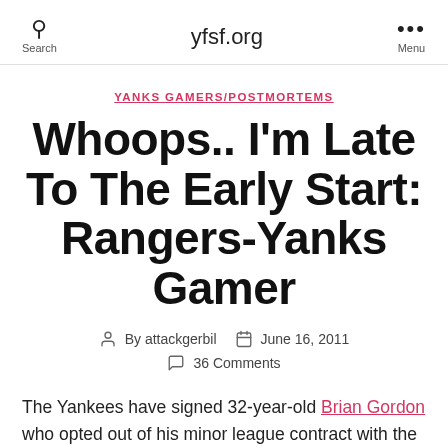Search | yfsf.org | Menu
YANKS GAMERS/POSTMORTEMS
Whoops.. I'm Late To The Early Start: Rangers-Yanks Gamer
By attackgerbil   June 16, 2011   36 Comments
The Yankees have signed 32-year-old Brian Gordon who opted out of his minor league contract with the Phillies. He starts against the only team with whom he's had big-